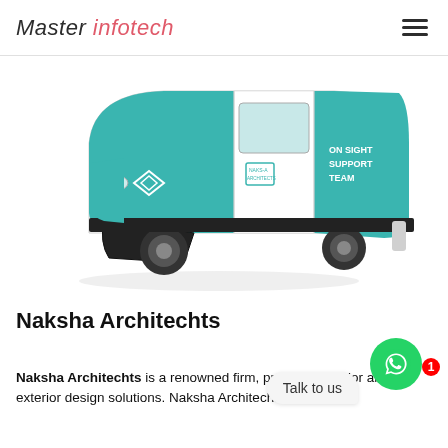Master infotech
[Figure (photo): A white and teal/green Mercedes Sprinter van with vehicle wrap branding. The front and rear are teal colored. Text on the rear reads 'ON SIGHT SUPPORT TEAM'. A logo and text 'NAKS-A ARCHITECTS' is visible on the side door. A diamond/square logo in white is on the front hood area.]
Naksha Architechts
Naksha Architechts is a renowned firm, providing interior and exterior design solutions. Naksha Architechts needed